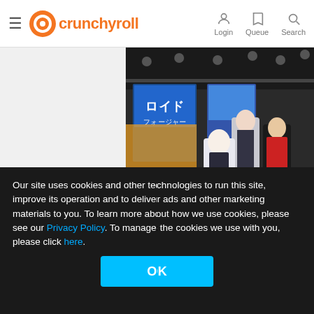crunchyroll — Login, Queue, Search navigation
[Figure (photo): Anime convention booth with large character standees and illuminated banners showing anime artwork including Japanese text. A crowd of people visible in front of the displays.]
Our site uses cookies and other technologies to run this site, improve its operation and to deliver ads and other marketing materials to you. To learn more about how we use cookies, please see our Privacy Policy. To manage the cookies we use with you, please click here.
OK